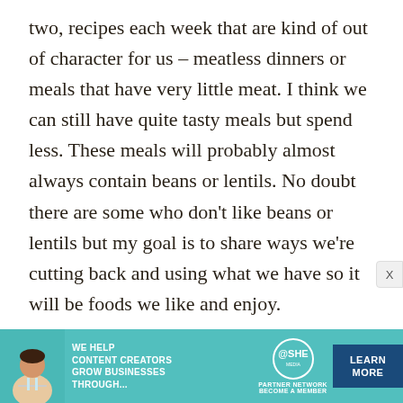two, recipes each week that are kind of out of character for us – meatless dinners or meals that have very little meat. I think we can still have quite tasty meals but spend less. These meals will probably almost always contain beans or lentils. No doubt there are some who don't like beans or lentils but my goal is to share ways we're cutting back and using what we have so it will be foods we like and enjoy.
We'll not skimp on food, so long as food is available, but we can do a better job of serving less expensive meals that are still tasty and nutritious. We'll see how it goes. I'll post the
[Figure (other): Advertisement banner for SHE Media Partner Network. Shows a woman with a laptop, text 'We help content creators grow businesses through...', SHE logo with 'Partner Network Become a Member', and a 'Learn More' button on dark blue background.]